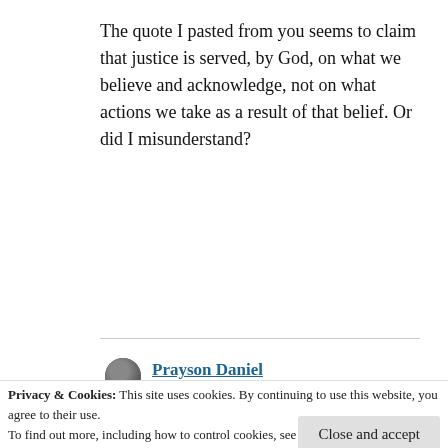The quote I pasted from you seems to claim that justice is served, by God, on what we believe and acknowledge, not on what actions we take as a result of that belief. Or did I misunderstand?
Reply
Prayson Daniel
Privacy & Cookies: This site uses cookies. By continuing to use this website, you agree to their use.
To find out more, including how to control cookies, see here:
Cookie Policy
Close and accept
not to acknowledge. Example, I may